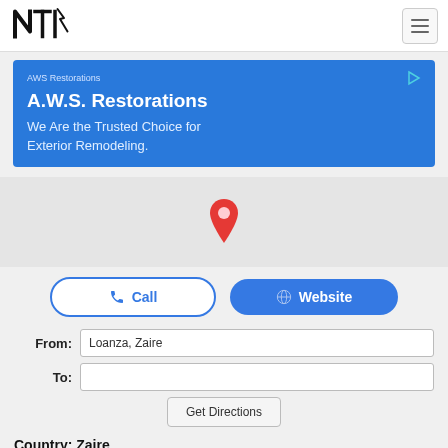[Figure (logo): NTI logo in black with stylized lightning bolt design]
[Figure (infographic): Hamburger menu icon with three horizontal lines]
[Figure (infographic): Blue advertisement banner for AWS Restorations]
[Figure (map): Light grey map area with a red location pin marker in the center]
Call
Website
From: Loanza, Zaire
To:
Get Directions
Country: Zaire